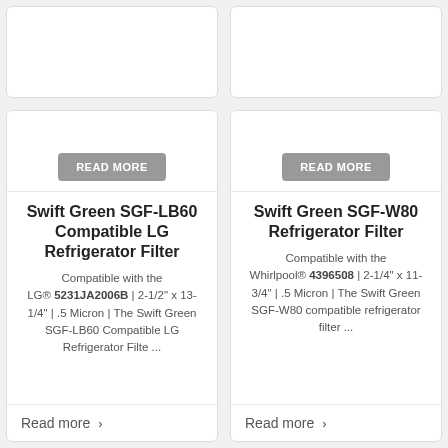[Figure (other): Top left product card image area (partially visible, cut off at top)]
[Figure (other): Top right product card image area (partially visible, cut off at top)]
READ MORE
Swift Green SGF-LB60 Compatible LG Refrigerator Filter
Compatible with the LG® 5231JA2006B | 2-1/2" x 13-1/4" | .5 Micron | The Swift Green SGF-LB60 Compatible LG Refrigerator Filte ...
Read more >
READ MORE
Swift Green SGF-W80 Refrigerator Filter
Compatible with the Whirlpool® 4396508 | 2-1/4" x 11-3/4" | .5 Micron | The Swift Green SGF-W80 compatible refrigerator filter ...
Read more >